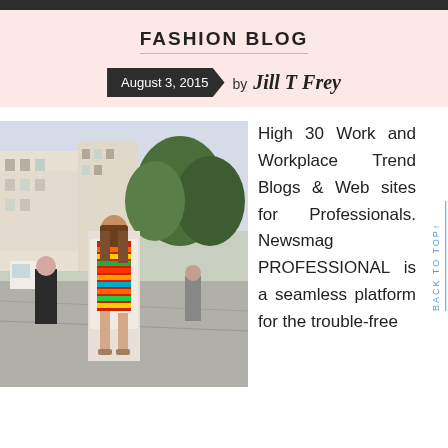FASHION BLOG
August 3, 2015  by Jill T Frey
[Figure (photo): A woman in a colorful striped outfit walking on a city street in Paris]
High 30 Work and Workplace Trend Blogs & Web sites for Professionals. Newsmag PROFESSIONAL is a seamless platform for the trouble-free